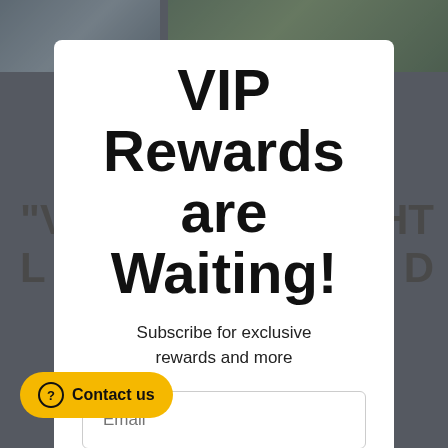[Figure (screenshot): Background webpage screenshot showing article with headline and text, partially obscured by modal overlay]
VIP Rewards are Waiting!
Subscribe for exclusive rewards and more
Email
Sign up
Contact us